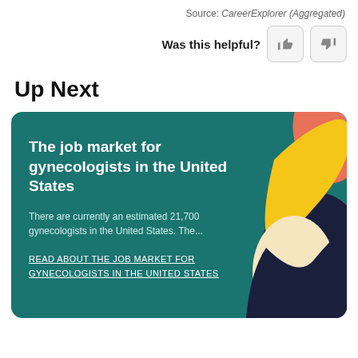Source: CareerExplorer (Aggregated)
Was this helpful?
Up Next
[Figure (illustration): Card with teal background showing a stylized toucan bird illustration with dark navy body, yellow beak, and salmon/red accent, on the right side of the card.]
The job market for gynecologists in the United States
There are currently an estimated 21,700 gynecologists in the United States. The...
READ ABOUT THE JOB MARKET FOR GYNECOLOGISTS IN THE UNITED STATES